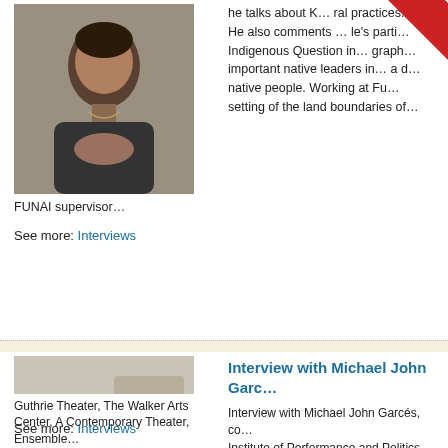[Figure (photo): Person with hands clasped together, appears to be an indigenous or FUNAI-related individual, dark clothing]
he talks about K... ral practices. He also comments ... le's parti... Indigenous Question in... graph... important native leaders in... a... native people. Working at Fu... setting of the land boundaries of...
FUNAI supervisor…
See more: Interviews
[Figure (photo): Man smiling, wearing glasses, dark hair, casual dark clothing, indoor setting with frame visible in background — Michael John Garcés]
Interview with Michael John Garc…
Interview with Michael John Garcés, co... Institute of Performance and Politics, he... Rights in the Americas. In this interview... political intervention in the public sphere... about Methodologies, presented in this... of legacies, memories, struggles, and fr... Cornerstone Theater Company in Los A... Edinburgh Fringe Festival, Yale Reperto...
Guthrie Theater, The Walker Arts Center, A Contemporary Theater, Ensemble…
See more: Interviews